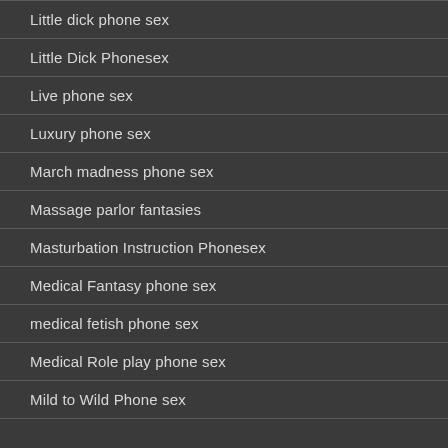Little dick phone sex
Little Dick Phonesex
Live phone sex
Luxury phone sex
March madness phone sex
Massage parlor fantasies
Masturbation Instruction Phonesex
Medical Fantasy phone sex
medical fetish phone sex
Medical Role play phone sex
Mild to Wild Phone sex